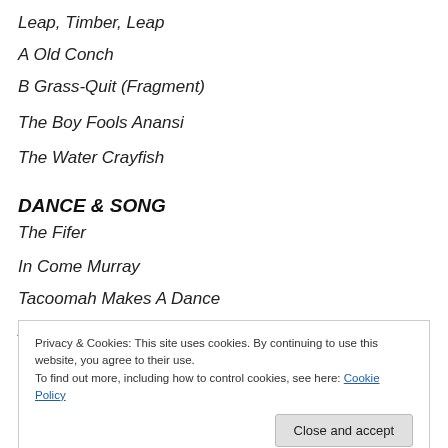Leap, Timber, Leap
A Old Conch
B Grass-Quit (Fragment)
The Boy Fools Anansi
The Water Crayfish
DANCE & SONG
The Fifer
In Come Murray
Tacoomah Makes A Dance
Anansi Makes A Dance
Privacy & Cookies: This site uses cookies. By continuing to use this website, you agree to their use.
To find out more, including how to control cookies, see here: Cookie Policy
Wooden Ring Ring And Cook...